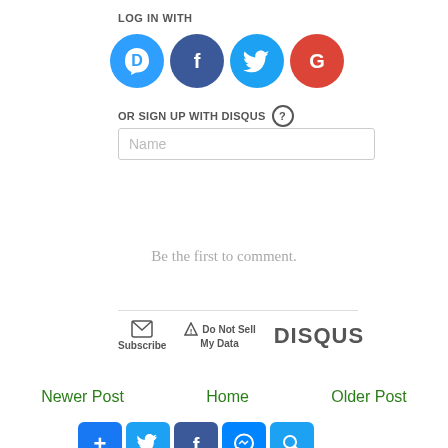LOG IN WITH
[Figure (infographic): Four social login icons in circles: Disqus (blue speech bubble D), Facebook (dark blue F), Twitter (light blue bird), Google (red G)]
OR SIGN UP WITH DISQUS ?
[Figure (screenshot): Name input text field placeholder]
Be the first to comment.
[Figure (infographic): Disqus footer bar with Subscribe (envelope icon), Do Not Sell My Data (triangle icon), and DISQUS logo]
Newer Post  Home  Older Post
[Figure (infographic): Social share buttons: add/Facebook, Twitter, Facebook, Messenger, link]